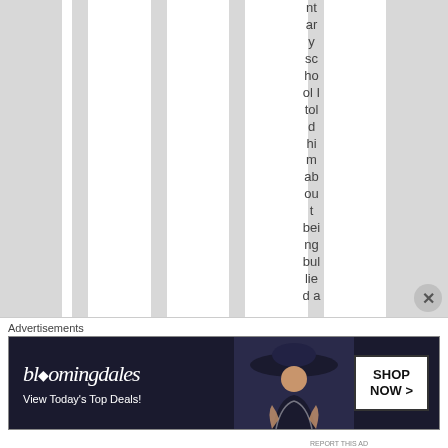nt ar y sc ho ol I tol d hi m ab ou t bei ng bul lie d a
[Figure (other): Bloomingdales advertisement banner with model in wide-brim hat, 'View Today's Top Deals!' and 'SHOP NOW >' button]
Advertisements